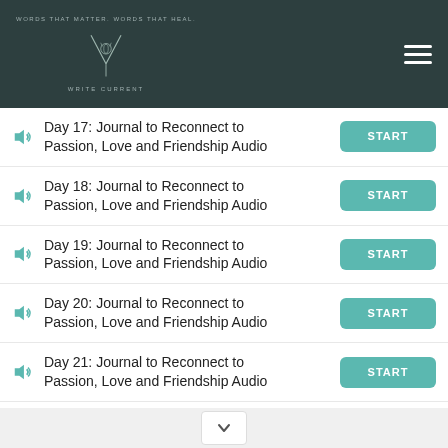[Figure (logo): Write Current logo with tagline 'Words That Matter. Words That Heal.' and a botanical illustration on dark teal header background with hamburger menu icon]
Day 17: Journal to Reconnect to Passion, Love and Friendship Audio
Day 18: Journal to Reconnect to Passion, Love and Friendship Audio
Day 19: Journal to Reconnect to Passion, Love and Friendship Audio
Day 20: Journal to Reconnect to Passion, Love and Friendship Audio
Day 21: Journal to Reconnect to Passion, Love and Friendship Audio